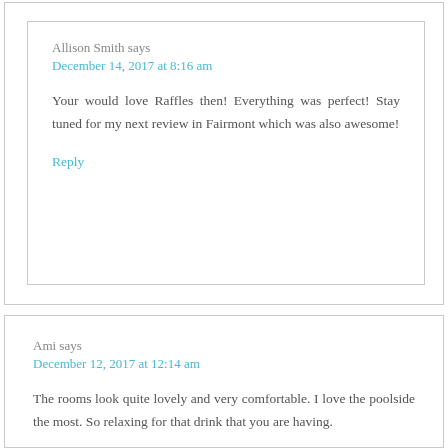Allison Smith says
December 14, 2017 at 8:16 am
Your would love Raffles then! Everything was perfect! Stay tuned for my next review in Fairmont which was also awesome!
Reply
Ami says
December 12, 2017 at 12:14 am
The rooms look quite lovely and very comfortable. I love the poolside the most. So relaxing for that drink that you are having.